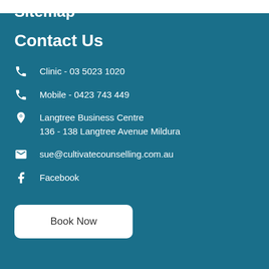Contact Us
Clinic - 03 5023 1020
Mobile - 0423 743 449
Langtree Business Centre
136 - 138 Langtree Avenue Mildura
sue@cultivatecounselling.com.au
Facebook
Book Now
Sitemap